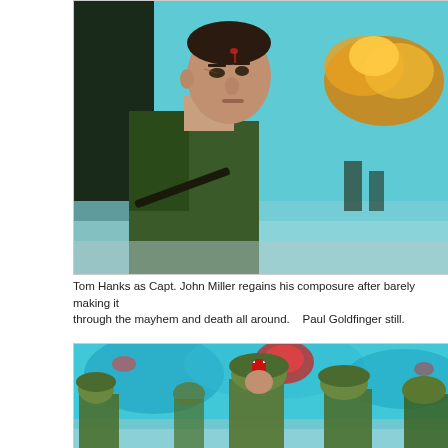[Figure (photo): Tom Hanks as Captain John Miller in military uniform, crouching with an intense expression, blood on forehead, with fire and soldiers visible in the background — a scene from Saving Private Ryan]
Tom Hanks as Capt. John Miller regains his composure after barely making it through the mayhem and death all around.    Paul Goldfinger still.
[Figure (photo): Soldiers in WWII-era American military uniforms and helmets storming a beach, with blue smoke and chaos visible — a battle scene from Saving Private Ryan]